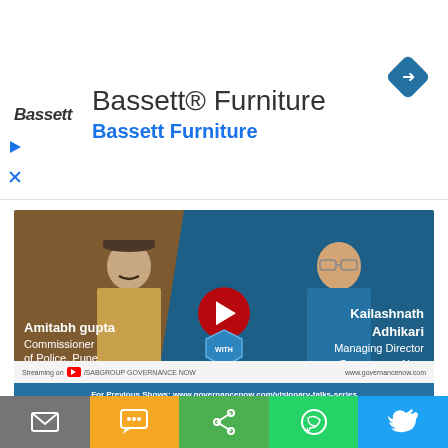[Figure (screenshot): Advertisement banner for Bassett Furniture with logo, title text 'Bassett® Furniture', subtitle 'Bassett Furniture', navigation diamond icon, and ad control icons]
[Figure (screenshot): Video thumbnail for 'Visionary Talks Series' showing Amitabh Gupta, Commissioner of Police, Pune and Kailashnath Adhikari, Managing Director, Governance Now, with YouTube play button, streaming info, and link to governancenow.com]
[Figure (screenshot): Share toolbar with buttons for Email (gray), SMS (yellow/orange), Share (green), WhatsApp (green), and Twitter (blue)]